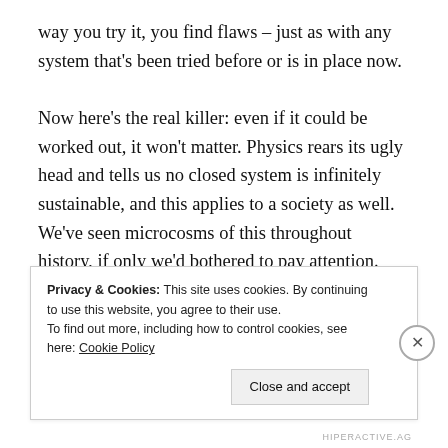way you try it, you find flaws – just as with any system that's been tried before or is in place now.

Now here's the real killer: even if it could be worked out, it won't matter. Physics rears its ugly head and tells us no closed system is infinitely sustainable, and this applies to a society as well. We've seen microcosms of this throughout history, if only we'd bothered to pay attention. The U.S. Social Security system was built on the basis of those paying in 'now' would finance those drawing out 'now', balanced by the notion that the
Privacy & Cookies: This site uses cookies. By continuing to use this website, you agree to their use.
To find out more, including how to control cookies, see here: Cookie Policy
Close and accept
HIPERACTIVE.AG